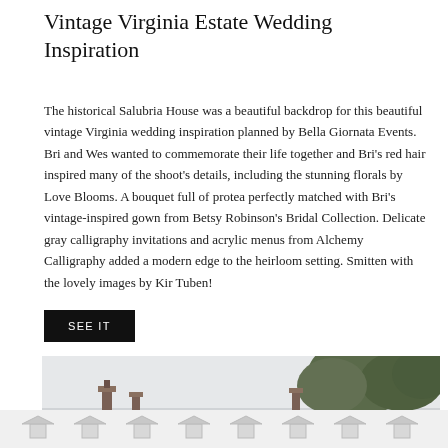Vintage Virginia Estate Wedding Inspiration
The historical Salubria House was a beautiful backdrop for this beautiful vintage Virginia wedding inspiration planned by Bella Giornata Events. Bri and Wes wanted to commemorate their life together and Bri's red hair inspired many of the shoot's details, including the stunning florals by Love Blooms. A bouquet full of protea perfectly matched with Bri's vintage-inspired gown from Betsy Robinson's Bridal Collection. Delicate gray calligraphy invitations and acrylic menus from Alchemy Calligraphy added a modern edge to the heirloom setting. Smitten with the lovely images by Kir Tuben!
SEE IT
[Figure (photo): Outdoor photo of Salubria House estate with tall chimneys visible and large trees in the background against an overcast sky]